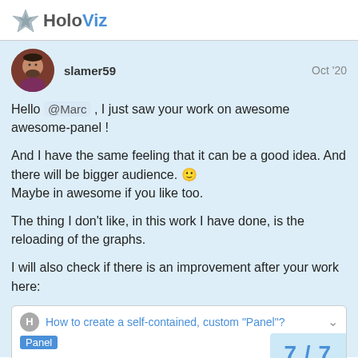HoloViz
slamer59   Oct '20
Hello @Marc , I just saw your work on awesome awesome-panel !

And I have the same feeling that it can be a good idea. And there will be bigger audience. 🙂
Maybe in awesome if you like too.

The thing I don't like, in this work I have done, is the reloading of the graphs.

I will also check if there is an improvement after your work here:
How to create a self-contained, custom "Panel"?
Panel
I'd like to create a custom class that tak
7 / 7